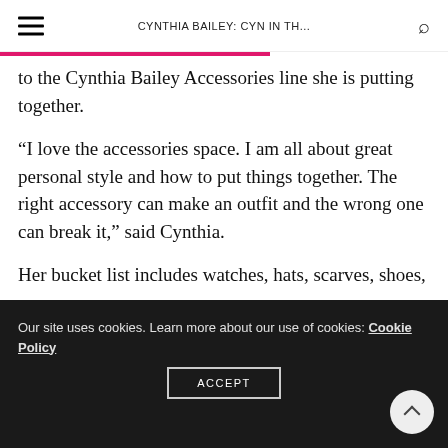CYNTHIA BAILEY: CYN IN TH...
to the Cynthia Bailey Accessories line she is putting together.
“I love the accessories space. I am all about great personal style and how to put things together. The right accessory can make an outfit and the wrong one can break it,” said Cynthia.
Her bucket list includes watches, hats, scarves, shoes,
Our site uses cookies. Learn more about our use of cookies: Cookie Policy